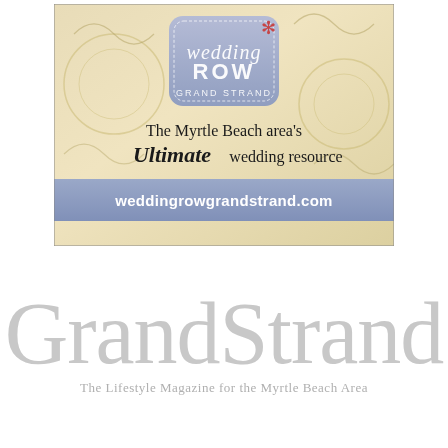[Figure (illustration): Wedding Row Grand Strand advertisement. A square ad with a soft gold/cream background showing wedding-themed imagery (glasses, pearls, decorative swirls). A blue-purple rounded square badge in the upper center reads 'wedding ROW' with a red asterisk/flower and 'GRAND STRAND' below it. Text reads: 'The Myrtle Beach area's Ultimate wedding resource'. A blue-purple banner at the bottom reads: 'weddingrowgrandstrand.com'.]
[Figure (logo): Grand Strand magazine logo in light gray. Large text 'GrandStrand' with tagline 'The Lifestyle Magazine for the Myrtle Beach Area'.]